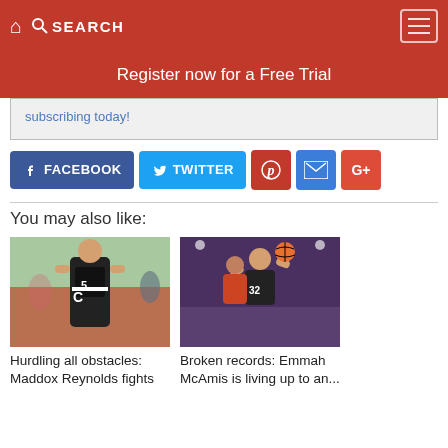Home | SEARCH | Menu
Register now for a Free Trial
subscribing today!
FACEBOOK  TWITTER  [Pinterest] [Email] [Google+]
You may also like:
[Figure (photo): Athlete in black track uniform with letter C on chest, standing at what appears to be a track and field event]
Hurdling all obstacles: Maddox Reynolds fights
[Figure (photo): Basketball game action shot with player wearing number 32 going for a layup or dunk]
Broken records: Emmah McAmis is living up to an...